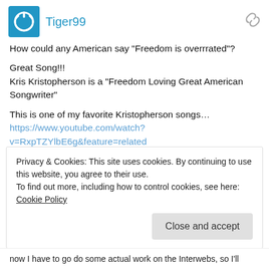[Figure (other): User avatar with power/circle icon on blue background, username Tiger99 in blue, and a link icon on the right]
How could any American say "Freedom is overrrated"?
Great Song!!!
Kris Kristopherson is a "Freedom Loving Great American Songwriter"
This is one of my favorite Kristopherson songs…
https://www.youtube.com/watch?v=RxpTZYlbE6g&feature=related
OOPPPS: thought I was replying to Jan…
[Figure (other): Thumbs up icon, 0 vote count, thumbs down icon]
Privacy & Cookies: This site uses cookies. By continuing to use this website, you agree to their use.
To find out more, including how to control cookies, see here: Cookie Policy
Close and accept
now I have to go do some actual work on the Interwebs, so I'll